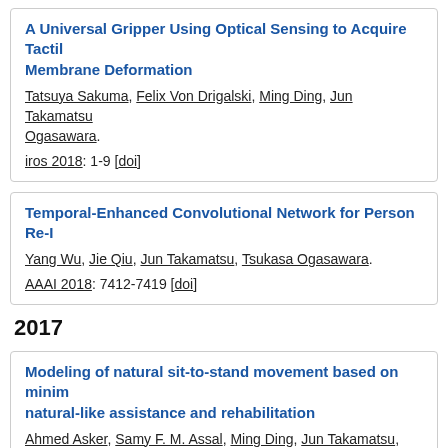A Universal Gripper Using Optical Sensing to Acquire Tactile Membrane Deformation
Tatsuya Sakuma, Felix Von Drigalski, Ming Ding, Jun Takamatsu, Tsukasa Ogasawara.
iros 2018: 1-9 [doi]
Temporal-Enhanced Convolutional Network for Person Re-I
Yang Wu, Jie Qiu, Jun Takamatsu, Tsukasa Ogasawara.
AAAI 2018: 7412-7419 [doi]
2017
Modeling of natural sit-to-stand movement based on minim natural-like assistance and rehabilitation
Ahmed Asker, Samy F. M. Assal, Ming Ding, Jun Takamatsu, Tsu M. Mohamed.
ar, 31(17):901-917, 2017. [doi]